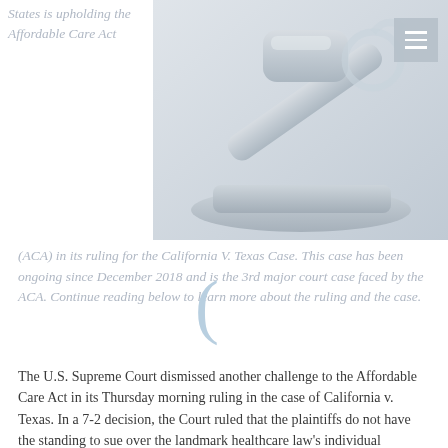States is upholding the Affordable Care Act (ACA) in its ruling for the California V. Texas Case. This case has been ongoing since December 2018 and is the 3rd major court case faced by the ACA. Continue reading below to learn more about the ruling and the case.
[Figure (photo): Photo of a judge's gavel on a sound block, light gray/white background]
The U.S. Supreme Court dismissed another challenge to the Affordable Care Act in its Thursday morning ruling in the case of California v. Texas. In a 7-2 decision, the Court ruled that the plaintiffs do not have the standing to sue over the landmark healthcare law's individual mandate. The Court's majority opinion was delivered by Justice Stephen Breyer; the two dissenting justices were Samuel Alito and Neil Gorsuch. This marks the ACA's third time surviving a major Supreme Court challenge, following a